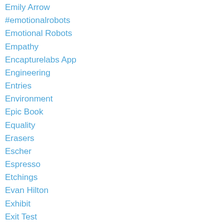Emily Arrow
#emotionalrobots
Emotional Robots
Empathy
Encapturelabs App
Engineering
Entries
Environment
Epic Book
Equality
Erasers
Escher
Espresso
Etchings
Evan Hilton
Exhibit
Exit Test
Explain Everything
Expression
Exquisite Corpse
Eyejack App